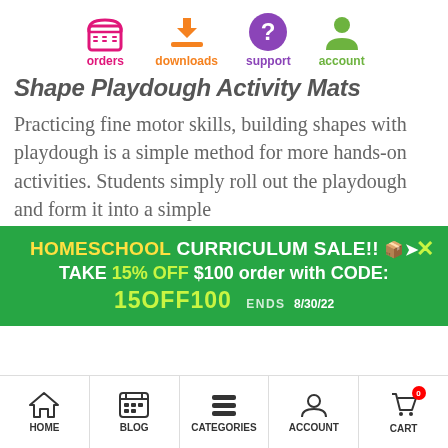[Figure (infographic): Top navigation icons: orders (pink basket), downloads (orange download arrow), support (purple question mark), account (green person)]
Shape Playdough Activity Mats
Practicing fine motor skills, building shapes with playdough is a simple method for more hands-on activities. Students simply roll out the playdough and form it into a simple
HOMESCHOOL CURRICULUM SALE!! TAKE 15% OFF $100 order with CODE: 15OFF100  ENDS 8/30/22
[Figure (infographic): Bottom navigation bar: HOME, BLOG, CATEGORIES, ACCOUNT, CART (with badge showing 0)]